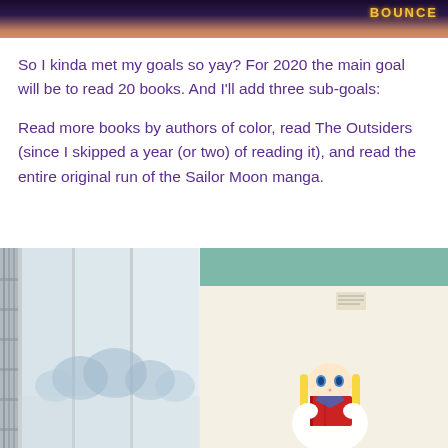[Figure (photo): Top portion of a photo showing a dark scene with orange/brown tones and a golden stylized text logo on the right side]
So I kinda met my goals so yay? For 2020 the main goal will be to read 20 books. And I'll add three sub-goals:
Read more books by authors of color, read The Outsiders (since I skipped a year (or two) of reading it), and read the entire original run of the Sailor Moon manga.
[Figure (photo): Bottom image showing Sailor Moon manga artwork: a Japanese sliding door panel on the left side with blue mountain silhouettes, and on the right a cream/beige background with a Sailor Moon character with blonde hair reading a red book]